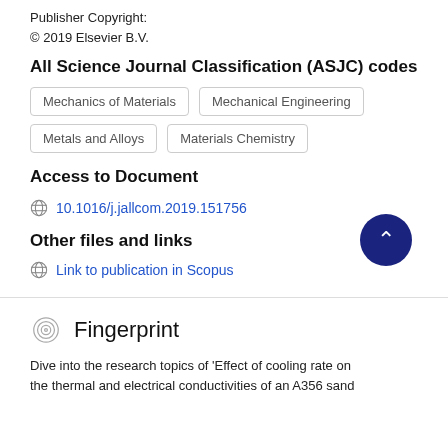Publisher Copyright:
© 2019 Elsevier B.V.
All Science Journal Classification (ASJC) codes
Mechanics of Materials
Mechanical Engineering
Metals and Alloys
Materials Chemistry
Access to Document
10.1016/j.jallcom.2019.151756
Other files and links
Link to publication in Scopus
Fingerprint
Dive into the research topics of 'Effect of cooling rate on the thermal and electrical conductivities of an A356 sand